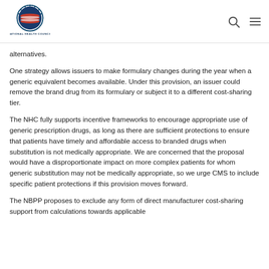National Health Council
alternatives.
One strategy allows issuers to make formulary changes during the year when a generic equivalent becomes available. Under this provision, an issuer could remove the brand drug from its formulary or subject it to a different cost-sharing tier.
The NHC fully supports incentive frameworks to encourage appropriate use of generic prescription drugs, as long as there are sufficient protections to ensure that patients have timely and affordable access to branded drugs when substitution is not medically appropriate. We are concerned that the proposal would have a disproportionate impact on more complex patients for whom generic substitution may not be medically appropriate, so we urge CMS to include specific patient protections if this provision moves forward.
The NBPP proposes to exclude any form of direct manufacturer cost-sharing support from calculations towards applicable